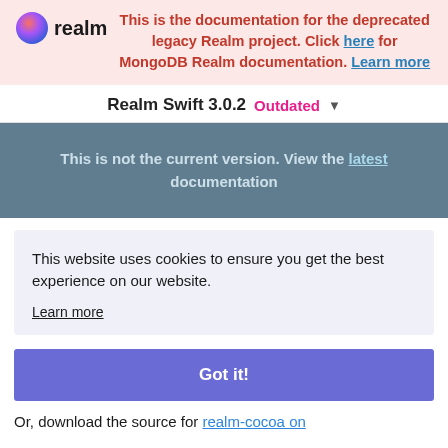realm — This is the documentation for the deprecated legacy Realm project. Click here for MongoDB Realm documentation. Learn more
Realm Swift 3.0.2  Outdated ▾
This is not the current version. View the latest documentation
This website uses cookies to ensure you get the best experience on our website.
Learn more
Got it!
Or, download the source for realm-cocoa on